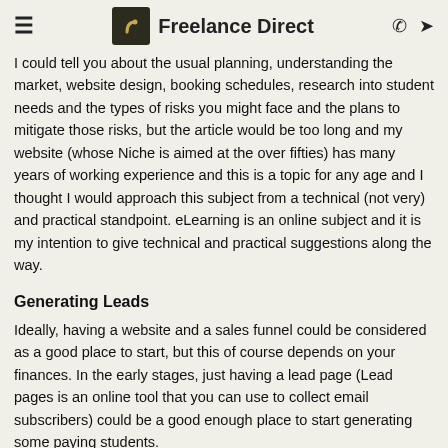Freelance Direct
I could tell you about the usual planning, understanding the market, website design, booking schedules, research into student needs and the types of risks you might face and the plans to mitigate those risks, but the article would be too long and my website (whose Niche is aimed at the over fifties) has many years of working experience and this is a topic for any age and I thought I would approach this subject from a technical (not very) and practical standpoint. eLearning is an online subject and it is my intention to give technical and practical suggestions along the way.
Generating Leads
Ideally, having a website and a sales funnel could be considered as a good place to start, but this of course depends on your finances. In the early stages, just having a lead page (Lead pages is an online tool that you can use to collect email subscribers) could be a good enough place to start generating some paying students.